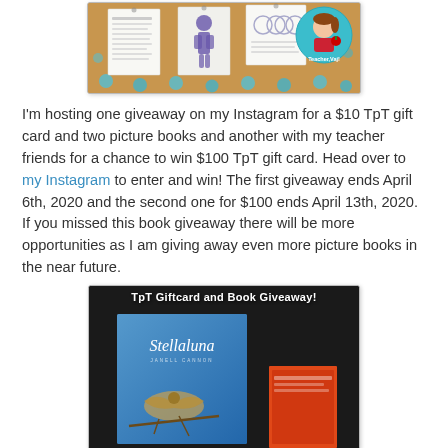[Figure (photo): Cork board with pinned worksheet papers and a circular teacher avatar badge (Teacher Vaj!) in teal and red]
I'm hosting one giveaway on my Instagram for a $10 TpT gift card and two picture books and another with my teacher friends for a chance to win $100 TpT gift card. Head over to my Instagram to enter and win! The first giveaway ends April 6th, 2020 and the second one for $100 ends April 13th, 2020. If you missed this book giveaway there will be more opportunities as I am giving away even more picture books in the near future.
[Figure (photo): Dark background promotional image with white bold text 'TpT Giftcard and Book Giveaway!' and a blue children's book cover showing 'Stellaluna' with a bat illustration, plus a second book partially visible]